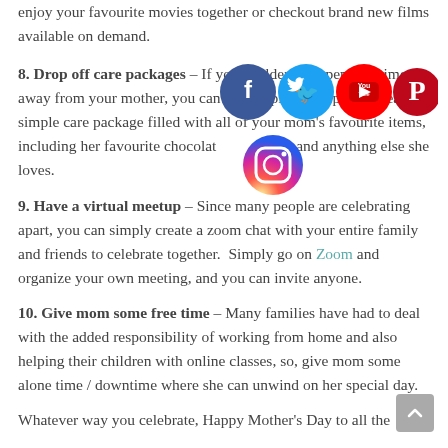enjoy your favourite movies together or checkout brand new films available on demand.
8. Drop off care packages – If you're older and spending time away from your mother, you can simply plan a drop-off. Create a simple care package filled with all of your mom's favourite items, including her favourite chocolate, wine and anything else she loves.
[Figure (illustration): Cluster of social media icons: Facebook, Twitter, YouTube, Pinterest, LinkedIn (top row), and Instagram (bottom, larger, gradient)]
9. Have a virtual meetup – Since many people are celebrating apart, you can simply create a zoom chat with your entire family and friends to celebrate together. Simply go on Zoom and organize your own meeting, and you can invite anyone.
10. Give mom some free time – Many families have had to deal with the added responsibility of working from home and also helping their children with online classes, so, give mom some alone time / downtime where she can unwind on her special day.
Whatever way you celebrate, Happy Mother's Day to all the